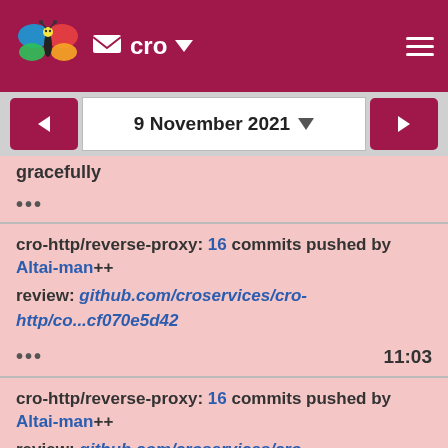cro
9 November 2021
gracefully

...
cro-http/reverse-proxy: 16 commits pushed by Altai-man++
review: github.com/croservices/cro-http/co...cf070e5d42
... 11:03
cro-http/reverse-proxy: 16 commits pushed by Altai-man++
review: github.com/croservices/cro-http/co...f1ec1ee2ac
... 11:26